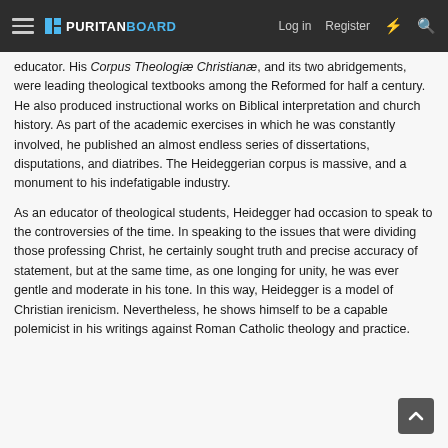PURITAN BOARD — Log in   Register
educator. His Corpus Theologiæ Christianæ, and its two abridgements, were leading theological textbooks among the Reformed for half a century. He also produced instructional works on Biblical interpretation and church history. As part of the academic exercises in which he was constantly involved, he published an almost endless series of dissertations, disputations, and diatribes. The Heideggerian corpus is massive, and a monument to his indefatigable industry.
As an educator of theological students, Heidegger had occasion to speak to the controversies of the time. In speaking to the issues that were dividing those professing Christ, he certainly sought truth and precise accuracy of statement, but at the same time, as one longing for unity, he was ever gentle and moderate in his tone. In this way, Heidegger is a model of Christian irenicism. Nevertheless, he shows himself to be a capable polemicist in his writings against Roman Catholic theology and practice.